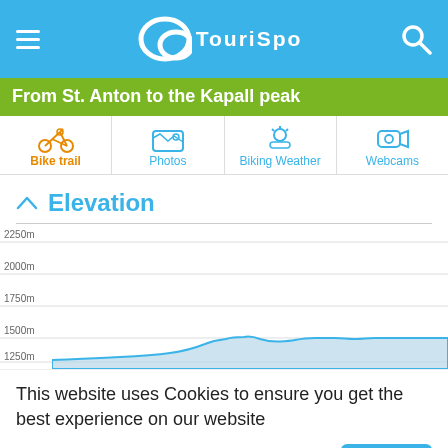TouriSpo
From St. Anton to the Kapall peak
Bike trail | Photos | Biking Weather | Webcams
Elevation
[Figure (area-chart): Area chart showing elevation profile from St. Anton to Kapall peak. The elevation starts around 1250m, gradually rises to approximately 1500m over the visible portion of the route. Y-axis labels: 1250m, 1500m, 1750m, 2000m, 2250m.]
This website uses Cookies to ensure you get the best experience on our website
Data Protection Regulations
I got it